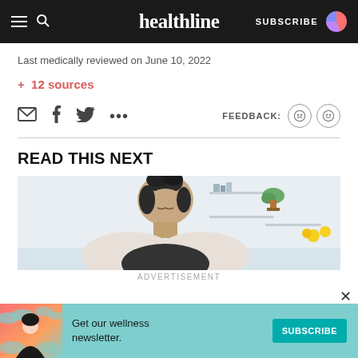healthline — SUBSCRIBE
Last medically reviewed on June 10, 2022
+ 12 sources
[Figure (infographic): Share bar with email, Facebook, Twitter, more icons, and FEEDBACK with sad and happy face icons]
READ THIS NEXT
[Figure (photo): Person with dark hair pulled up, looking down, in a bright kitchen with plants and shelves in background]
ADVERTISEMENT
[Figure (infographic): Advertisement banner: Get our wellness newsletter. SUBSCRIBE button. Teal background with illustrated woman.]